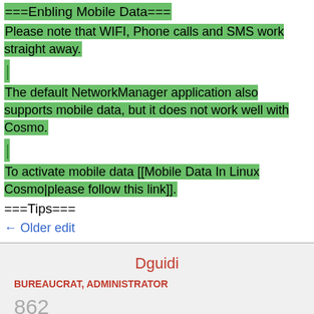===Enbling Mobile Data===
Please note that WIFI, Phone calls and SMS work straight away.
|
The default NetworkManager application also supports mobile data, but it does not work well with Cosmo.
|
To activate mobile data [[Mobile Data In Linux Cosmo|please follow this link]].
===Tips===
← Older edit
Dguidi
BUREAUCRAT, ADMINISTRATOR
862
EDITS